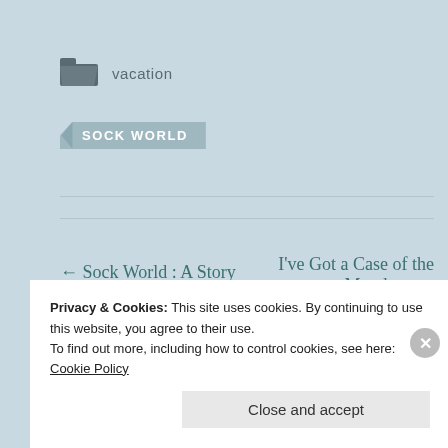vacation
SOCK WORLD
← Sock World : A Story
I've Got a Case of the Mondays →
Privacy & Cookies: This site uses cookies. By continuing to use this website, you agree to their use.
To find out more, including how to control cookies, see here: Cookie Policy
Close and accept